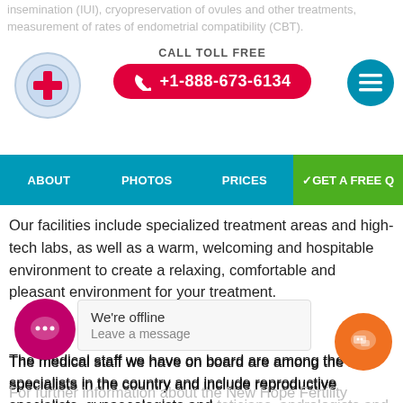insemination (IUI), cryopreservation of ovules and other treatments, measurement of rates of endometrial compatibility (CBT).
CALL TOLL FREE +1-888-673-6134
ABOUT  PHOTOS  PRICES  GET A FREE Q
Our facilities include specialized treatment areas and high-tech labs, as well as a warm, welcoming and hospitable environment to create a relaxing, comfortable and pleasant environment for your treatment.
The medical staff we have on board are among the best specialists in the country and include reproductive specialists, gynaecologists and teticians, andrologists and perinatal geneticists.
For further information about the New Hope Fertility